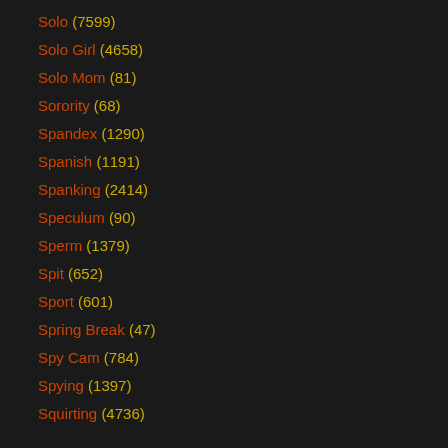Solo (7599)
Solo Girl (4658)
Solo Mom (81)
Sorority (68)
Spandex (1290)
Spanish (1191)
Spanking (2414)
Speculum (90)
Sperm (1379)
Spit (652)
Sport (601)
Spring Break (47)
Spy Cam (784)
Spying (1397)
Squirting (4736)